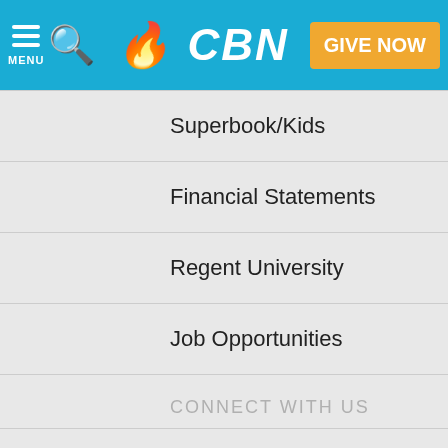CBN - MENU | Search | GIVE NOW
Superbook/Kids
Financial Statements
Regent University
Job Opportunities
CONNECT WITH US
Contact Us
Email and Devotions Sign-Ups
Follow Us/Social